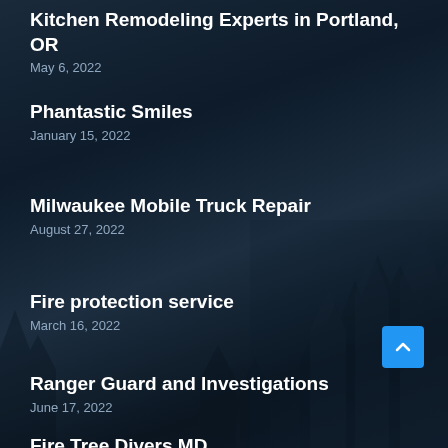Kitchen Remodeling Experts in Portland, OR
May 6, 2022
Phantastic Smiles
January 15, 2022
Milwaukee Mobile Truck Repair
August 27, 2022
Fire protection service
March 16, 2022
Ranger Guard and Investigations
June 17, 2022
Fire Tree Divers MD...